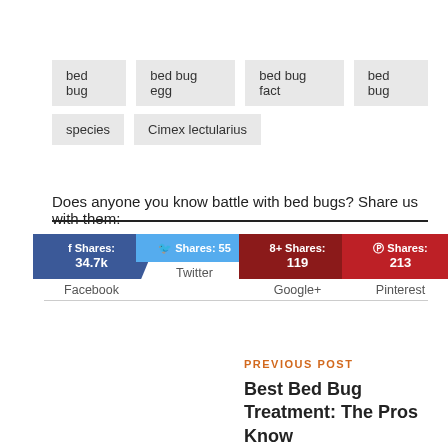bed bug
bed bug egg
bed bug fact
bed bug
species
Cimex lectularius
Does anyone you know battle with bed bugs? Share us with them:
[Figure (infographic): Social share buttons: Facebook Shares 34.7k, Twitter Shares 55, Google+ Shares 119, Pinterest Shares 213]
PREVIOUS POST
Best Bed Bug Treatment: The Pros Know